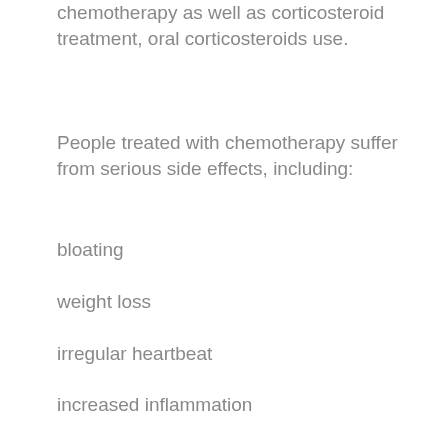chemotherapy as well as corticosteroid treatment, oral corticosteroids use.
People treated with chemotherapy suffer from serious side effects, including:
bloating
weight loss
irregular heartbeat
increased inflammation
an almost instant loss of feeling in the extremities or muscles
painful, swollen joints that don't heal properly
trouble eating